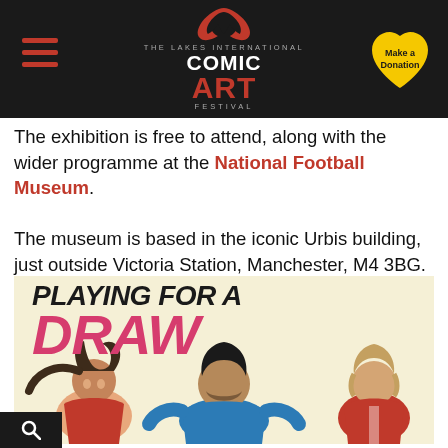THE LAKES INTERNATIONAL COMIC ART FESTIVAL
The exhibition is free to attend, along with the wider programme at the National Football Museum.
The museum is based in the iconic Urbis building, just outside Victoria Station, Manchester, M4 3BG.
[Figure (illustration): Playing For A Draw exhibition poster showing comic-style illustration of three football players (a woman, a man in blue kit, and a man in red/white) with large text 'PLAYING FOR A DRAW']